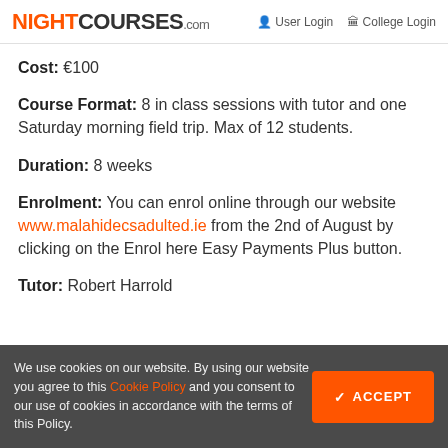NIGHTCOURSES.com  User Login  College Login
Cost: €100
Course Format: 8 in class sessions with tutor and one Saturday morning field trip. Max of 12 students.
Duration: 8 weeks
Enrolment: You can enrol online through our website www.malahidecsadulted.ie from the 2nd of August by clicking on the Enrol here Easy Payments Plus button.
Tutor: Robert Harrold
Adult Education:
We use cookies on our website. By using our website you agree to this Cookie Policy and you consent to our use of cookies in accordance with the terms of this Policy.